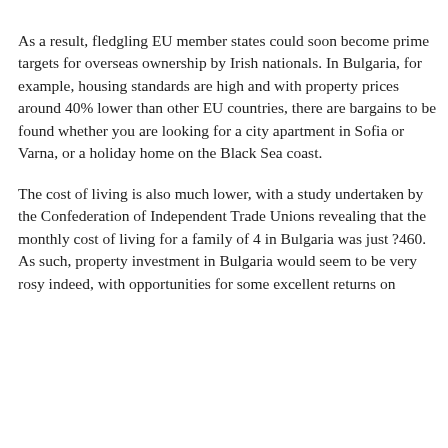As a result, fledgling EU member states could soon become prime targets for overseas ownership by Irish nationals. In Bulgaria, for example, housing standards are high and with property prices around 40% lower than other EU countries, there are bargains to be found whether you are looking for a city apartment in Sofia or Varna, or a holiday home on the Black Sea coast.
The cost of living is also much lower, with a study undertaken by the Confederation of Independent Trade Unions revealing that the monthly cost of living for a family of 4 in Bulgaria was just ?460. As such, property investment in Bulgaria would seem to be very rosy indeed, with opportunities for some excellent returns on